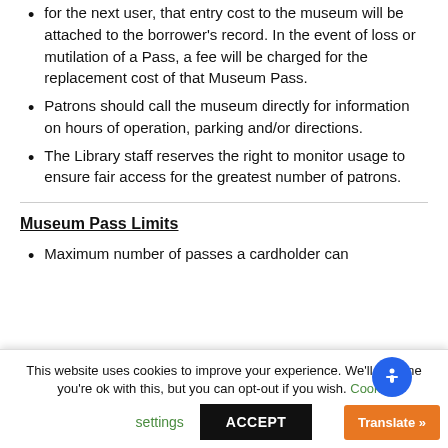for the next user, that entry cost to the museum will be attached to the borrower's record. In the event of loss or mutilation of a Pass, a fee will be charged for the replacement cost of that Museum Pass.
Patrons should call the museum directly for information on hours of operation, parking and/or directions.
The Library staff reserves the right to monitor usage to ensure fair access for the greatest number of patrons.
Museum Pass Limits
Maximum number of passes a cardholder can
This website uses cookies to improve your experience. We'll assume you're ok with this, but you can opt-out if you wish. Cookie settings ACCEPT Translate »